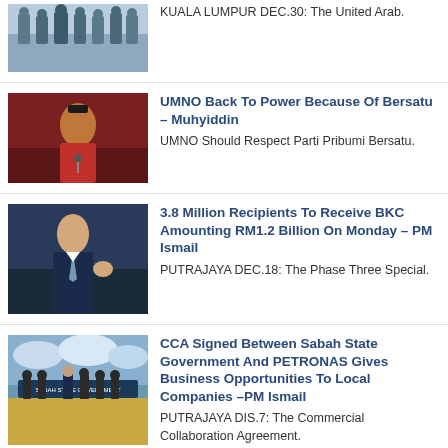[Figure (photo): Group of people in military/formal attire standing together outdoors]
KUALA LUMPUR DEC.30: The United Arab.
[Figure (photo): Man in red attire speaking at a podium]
UMNO Back To Power Because Of Bersatu – Muhyiddin
UMNO Should Respect Parti Pribumi Bersatu.
[Figure (photo): Man in suit gesturing with hand raised to face]
3.8 Million Recipients To Receive BKC Amounting RM1.2 Billion On Monday – PM Ismail
PUTRAJAYA DEC.18: The Phase Three Special.
[Figure (photo): Group of officials in masks at an outdoor signing ceremony with banners]
CCA Signed Between Sabah State Government And PETRONAS Gives Business Opportunities To Local Companies –PM Ismail
PUTRAJAYA DIS.7: The Commercial Collaboration Agreement.